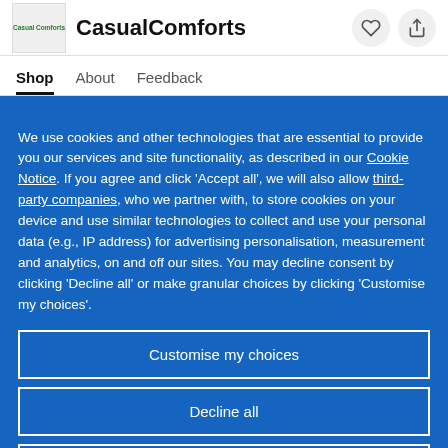CasualComforts
Shop  About  Feedback
We use cookies and other technologies that are essential to provide you our services and site functionality, as described in our Cookie Notice. If you agree and click 'Accept all', we will also allow third-party companies, who we partner with, to store cookies on your device and use similar technologies to collect and use your personal data (e.g., IP address) for advertising personalisation, measurement and analytics, on and off our sites. You may decline consent by clicking 'Decline all' or make granular choices by clicking 'Customise my choices'.
Customise my choices
Decline all
Accept all